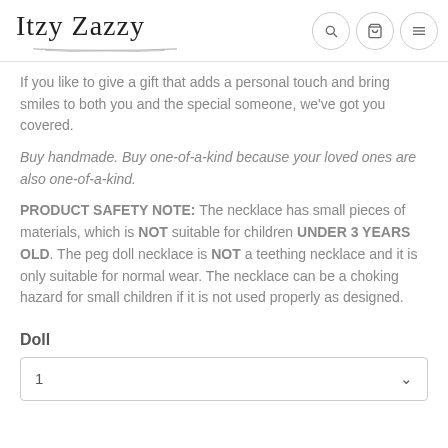Itzy Zazzy
If you like to give a gift that adds a personal touch and bring smiles to both you and the special someone, we've got you covered.
Buy handmade.  Buy one-of-a-kind because your loved ones are also one-of-a-kind.
PRODUCT SAFETY NOTE:  The necklace has small pieces of materials, which is NOT suitable for children UNDER 3 YEARS OLD.  The peg doll necklace is NOT a teething necklace and it is only suitable for normal wear.  The necklace can be a choking hazard for small children if it is not used properly as designed.
Doll
1